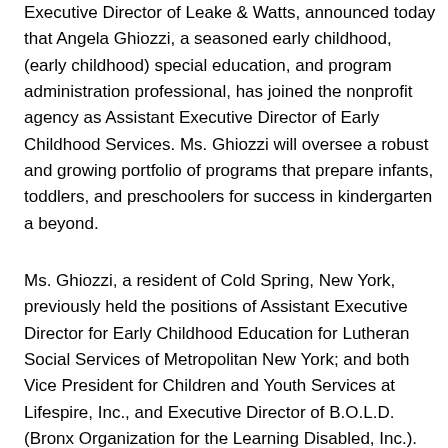Executive Director of Leake & Watts, announced today that Angela Ghiozzi, a seasoned early childhood, (early childhood) special education, and program administration professional, has joined the nonprofit agency as Assistant Executive Director of Early Childhood Services. Ms. Ghiozzi will oversee a robust and growing portfolio of programs that prepare infants, toddlers, and preschoolers for success in kindergarten a beyond.
Ms. Ghiozzi, a resident of Cold Spring, New York, previously held the positions of Assistant Executive Director for Early Childhood Education for Lutheran Social Services of Metropolitan New York; and both Vice President for Children and Youth Services at Lifespire, Inc., and Executive Director of B.O.L.D. (Bronx Organization for the Learning Disabled, Inc.). Earlier in her career, she served as Supervisor of Special Education at Nyack Public Schools and Principal at